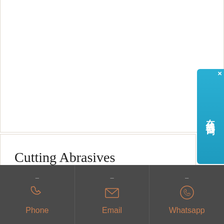[Figure (screenshot): Top white content area with border, part of a web page]
[Figure (illustration): Blue vertical side widget with Chinese characters: 在线咨询 (Online Consultation) with close X button]
Cutting Abrasives Manufacturers, Suppliers... - eWorldTrade
China 4 Inch Cut Disk Best Price Abrasive Metal Cutting DiscDetailed Images Product Description apeng Cutting disk for metal stainless steel abrasive cut off disc 125mm grinding disc. You
[Figure (infographic): Dark footer bar with three contact options: Phone (phone icon), Email (envelope icon), Whatsapp (whatsapp icon), labels in orange]